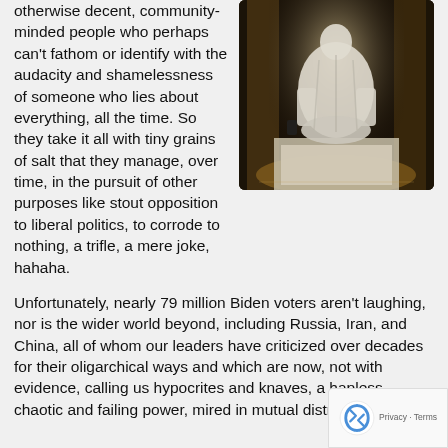otherwise decent, community-minded people who perhaps can't fathom or identify with the audacity and shamelessness of someone who lies about everything, all the time. So they take it all with tiny grains of salt that they manage, over time, in the pursuit of other purposes like stout opposition to liberal politics, to corrode to nothing, a trifle, a mere joke, hahaha.
[Figure (photo): Dark interior photograph of a large seated statue (Lincoln Memorial or similar), lit dramatically from behind with columns visible]
Unfortunately, nearly 79 million Biden voters aren't laughing, nor is the wider world beyond, including Russia, Iran, and China, all of whom our leaders have criticized over decades for their oligarchical ways and which are now, not without evidence, calling us hypocrites and knaves, a hapless, chaotic and failing power, mired in mutual distrust.